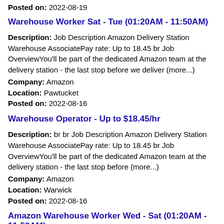Posted on: 2022-08-19
Warehouse Worker Sat - Tue (01:20AM - 11:50AM)
Description: Job Description Amazon Delivery Station Warehouse AssociatePay rate: Up to 18.45 br Job OverviewYou'll be part of the dedicated Amazon team at the delivery station - the last stop before we deliver (more...)
Company: Amazon
Location: Pawtucket
Posted on: 2022-08-16
Warehouse Operator - Up to $18.45/hr
Description: br br Job Description Amazon Delivery Station Warehouse AssociatePay rate: Up to 18.45 br Job OverviewYou'll be part of the dedicated Amazon team at the delivery station - the last stop before (more...)
Company: Amazon
Location: Warwick
Posted on: 2022-08-16
Amazon Warehouse Worker Wed - Sat (01:20AM - 11:50AM)
Description: Job Description Amazon Delivery Station Warehouse AssociatePay rate: Up to 18.45 br Job OverviewYou'll be part of the dedicated Amazon team at the delivery station - the last stop before we deliver (more...)
Company: Amazon
Location: Central Falls